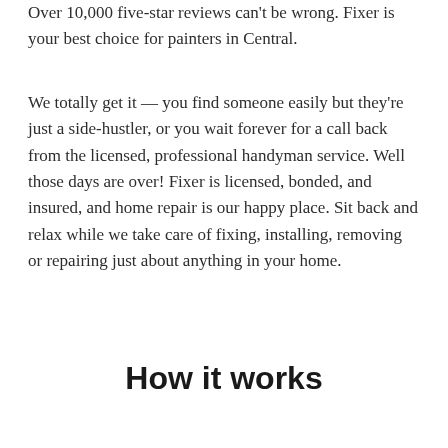Over 10,000 five-star reviews can't be wrong. Fixer is your best choice for painters in Central.
We totally get it — you find someone easily but they're just a side-hustler, or you wait forever for a call back from the licensed, professional handyman service. Well those days are over! Fixer is licensed, bonded, and insured, and home repair is our happy place. Sit back and relax while we take care of fixing, installing, removing or repairing just about anything in your home.
How it works